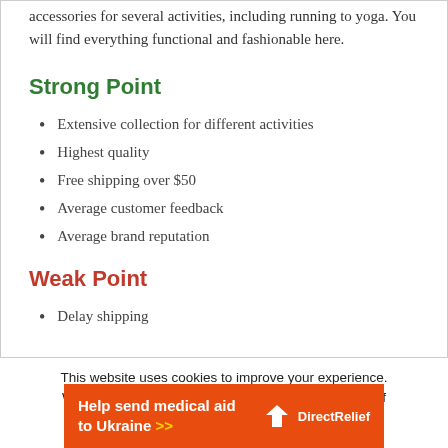accessories for several activities, including running to yoga. You will find everything functional and fashionable here.
Strong Point
Extensive collection for different activities
Highest quality
Free shipping over $50
Average customer feedback
Average brand reputation
Weak Point
Delay shipping
This website uses cookies to improve your experience. We'll assume you're ok with this, but you can opt-out if
[Figure (infographic): Orange Direct Relief donation banner: 'Help send medical aid to Ukraine >>' with DirectRelief logo]